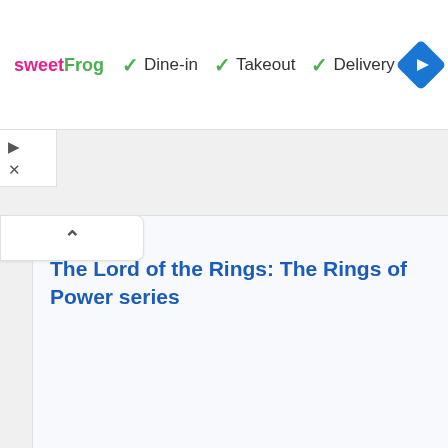[Figure (screenshot): sweetFrog ad banner with Dine-in, Takeout, Delivery options and navigation diamond icon]
[Figure (screenshot): Small play and close icon buttons on left side]
[Figure (screenshot): Collapse/expand tab with upward chevron arrow]
The Lord of the Rings: The Rings of Power series